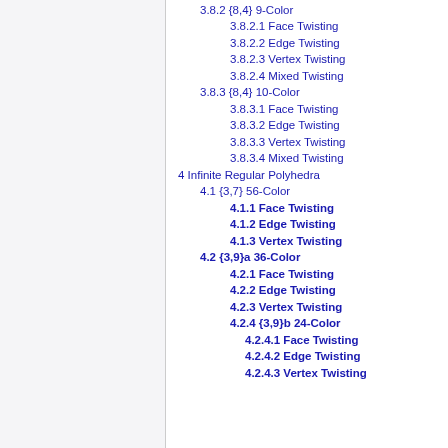3.8.2 {8,4} 9-Color
3.8.2.1 Face Twisting
3.8.2.2 Edge Twisting
3.8.2.3 Vertex Twisting
3.8.2.4 Mixed Twisting
3.8.3 {8,4} 10-Color
3.8.3.1 Face Twisting
3.8.3.2 Edge Twisting
3.8.3.3 Vertex Twisting
3.8.3.4 Mixed Twisting
4 Infinite Regular Polyhedra
4.1 {3,7} 56-Color
4.1.1 Face Twisting
4.1.2 Edge Twisting
4.1.3 Vertex Twisting
4.2 {3,9}a 36-Color
4.2.1 Face Twisting
4.2.2 Edge Twisting
4.2.3 Vertex Twisting
4.2.4 {3,9}b 24-Color
4.2.4.1 Face Twisting
4.2.4.2 Edge Twisting
4.2.4.3 Vertex Twisting